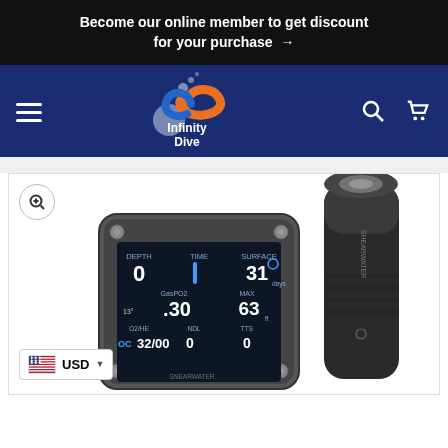Become our online member to get discount for your purchase →
[Figure (logo): Infinity Dive logo with infinity symbol in orange and blue with text 'Infinity Dive']
[Figure (photo): Shearwater dive computer displaying DEPTH 0, TIME, SURFACE 31 days, GasPO2 .30, MAX 63ft, O2/HE OC 32/00, NDL 0, TTS 0. Next to it is a black cylindrical dive light with Shearwater branding.]
USD